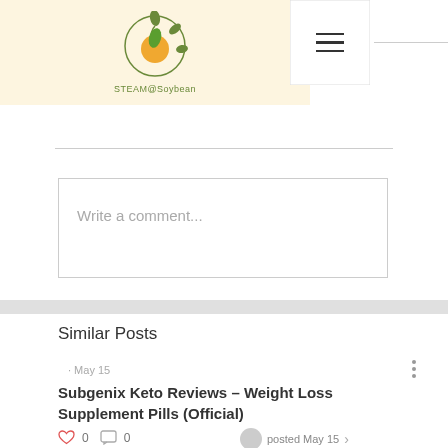STEAM@Soybean
Write a comment...
Similar Posts
· May 15
Subgenix Keto Reviews – Weight Loss Supplement Pills (Official)
0  0  posted May 15
· May 20
Apple Keto Gummies Australia [Official -